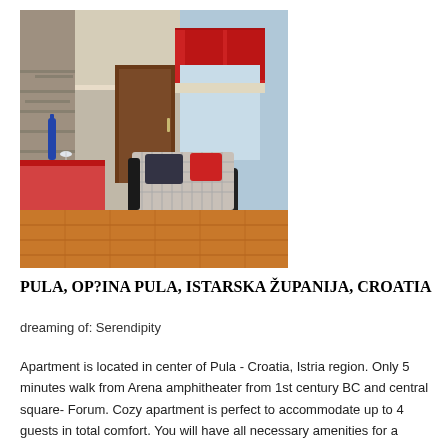[Figure (photo): Interior of an apartment in Pula, Croatia. Shows a living/dining area with a red tablecloth on the left, a sofa with checked cover and cushions in the center, red kitchen cabinets in the background, wooden floor, and a pendant light hanging from the ceiling.]
PULA, OP?INA PULA, ISTARSKA ŽUPANIJA, CROATIA
dreaming of: Serendipity
Apartment is located in center of Pula - Croatia, Istria region. Only 5 minutes walk from Arena amphitheater from 1st century BC and central square- Forum. Cozy apartment is perfect to accommodate up to 4 guests in total comfort. You will have all necessary amenities for a